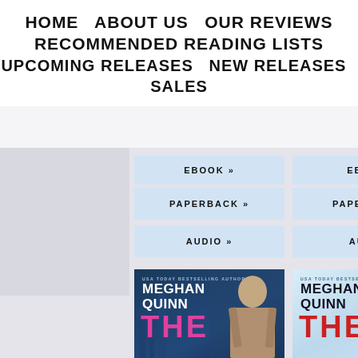HOME   ABOUT US   OUR REVIEWS
RECOMMENDED READING LISTS
UPCOMING RELEASES   NEW RELEASES   SALES
EBOOK »
EBOOK »
PAPERBACK »
PAPERBACK »
AUDIO »
AUDIO »
[Figure (photo): Book cover: Meghan Quinn - THE (partial title), dark blue background with male model]
[Figure (photo): Book cover: Meghan Quinn - THE (partial title), light blue/white background with male model]